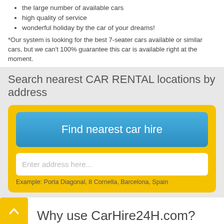the large number of available cars
high quality of service
wonderful holiday by the car of your dreams!
*Our system is looking for the best 7-seater cars available or similar cars, but we can't 100% guarantee this car is available right at the moment.
Search nearest CAR RENTAL locations by address
[Figure (screenshot): Yellow box containing a blue 'Find nearest car hire' button, a text input field with placeholder 'Enter address here...', and example text 'Example: Porta Diagonal, 8 Cornella, Barcelona, Spain']
[Figure (other): Yellow back-to-top button with upward arrow chevron]
Why use CarHire24H.com?